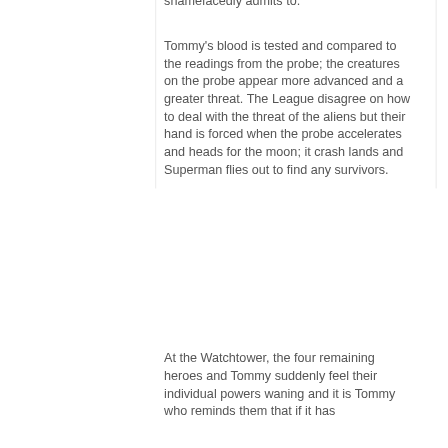shamefacedly admits to.
Tommy's blood is tested and compared to the readings from the probe; the creatures on the probe appear more advanced and a greater threat. The League disagree on how to deal with the threat of the aliens but their hand is forced when the probe accelerates and heads for the moon; it crash lands and Superman flies out to find any survivors.
At the Watchtower, the four remaining heroes and Tommy suddenly feel their individual powers waning and it is Tommy who reminds them that if it has